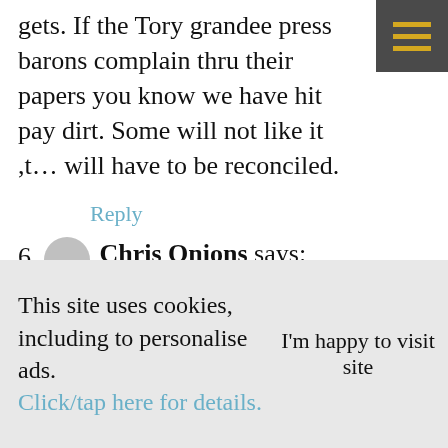gets. If the Tory grandee press barons complain thru their papers you know we have hit pay dirt. Some will not like it ,they will have to be reconciled.
Reply
6. Chris Onions says:
September 10, 2019 at 12:57 am
Revoke article 50. This right wing
This site uses cookies, including to personalise ads. Click/tap here for details.
I'm happy to visit site